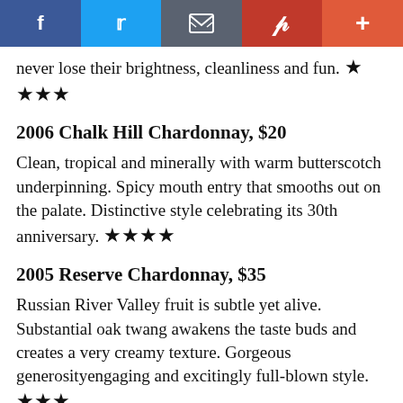[Figure (other): Social sharing bar with Facebook, Twitter, Email, Pinterest, and plus buttons]
never lose their brightness, cleanliness and fun. ★★★
2006 Chalk Hill Chardonnay, $20
Clean, tropical and minerally with warm butterscotch underpinning. Spicy mouth entry that smooths out on the palate. Distinctive style celebrating its 30th anniversary. ★★★★
2005 Reserve Chardonnay, $35
Russian River Valley fruit is subtle yet alive. Substantial oak twang awakens the taste buds and creates a very creamy texture. Gorgeous generosityengaging and excitingly full-blown style. ★★★
…Russian River Valley Estate Pinot Noir…